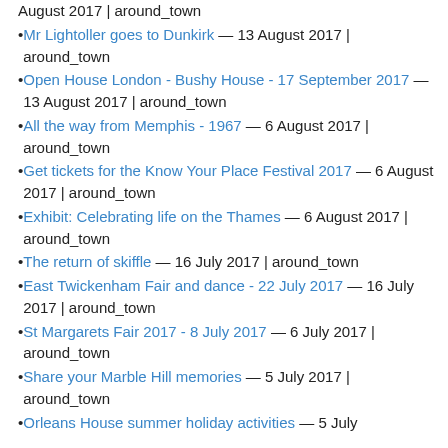August 2017 | around_town
Mr Lightoller goes to Dunkirk — 13 August 2017 | around_town
Open House London - Bushy House - 17 September 2017 — 13 August 2017 | around_town
All the way from Memphis - 1967 — 6 August 2017 | around_town
Get tickets for the Know Your Place Festival 2017 — 6 August 2017 | around_town
Exhibit: Celebrating life on the Thames — 6 August 2017 | around_town
The return of skiffle — 16 July 2017 | around_town
East Twickenham Fair and dance - 22 July 2017 — 16 July 2017 | around_town
St Margarets Fair 2017 - 8 July 2017 — 6 July 2017 | around_town
Share your Marble Hill memories — 5 July 2017 | around_town
Orleans House summer holiday activities — 5 July